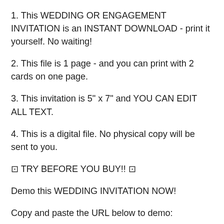1. This WEDDING OR ENGAGEMENT INVITATION is an INSTANT DOWNLOAD - print it yourself. No waiting!
2. This file is 1 page - and you can print with 2 cards on one page.
3. This invitation is 5" x 7" and YOU CAN EDIT ALL TEXT.
4. This is a digital file. No physical copy will be sent to you.
⊡ TRY BEFORE YOU BUY!! ⊡
Demo this WEDDING INVITATION NOW!
Copy and paste the URL below to demo: